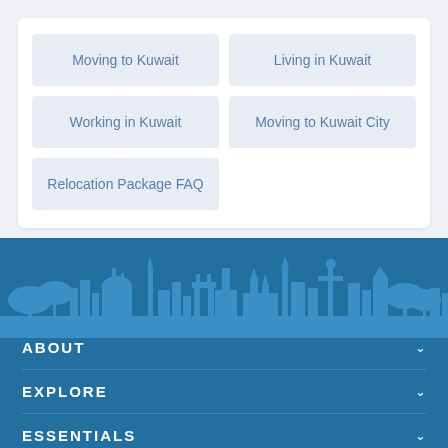Moving to Kuwait
Living in Kuwait
Working in Kuwait
Moving to Kuwait City
Relocation Package FAQ
[Figure (illustration): City skyline silhouette in blue tones used as decorative footer background]
ABOUT
EXPLORE
ESSENTIALS
COMMUNITY